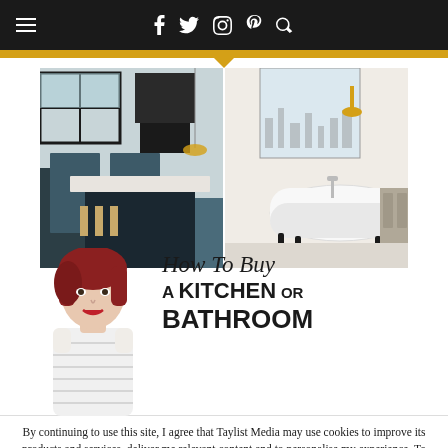Navigation bar with hamburger menu and social icons: f (Facebook), Twitter bird, Instagram, Pinterest, Search
[Figure (photo): Left half: blue kitchen with island, bar stools, pendant lights, range hood and marble counters. Right half: white bathroom with freestanding clawfoot bathtub, gold wall sconce, window with city view.]
[Figure (photo): Woman with red hair, white striped top, smiling, overlaid on the hero text section.]
How To Buy A KITCHEN OR BATHROOM
By continuing to use this site, I agree that Taylist Media may use cookies to improve its products and services, deliver me relevant content and to personalise my experience. To find out more, please see our Privacy Notice and Cookie Policy
ACCEPT